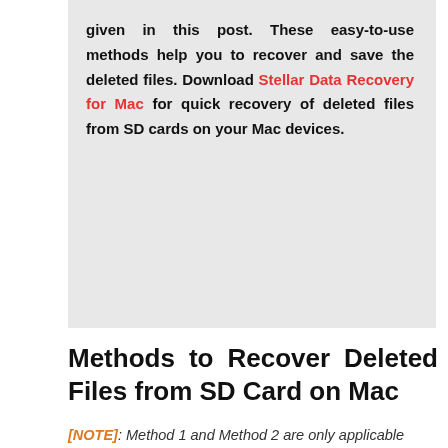given in this post. These easy-to-use methods help you to recover and save the deleted files. Download Stellar Data Recovery for Mac for quick recovery of deleted files from SD cards on your Mac devices.
Methods to Recover Deleted Files from SD Card on Mac
[NOTE]: Method 1 and Method 2 are only applicable